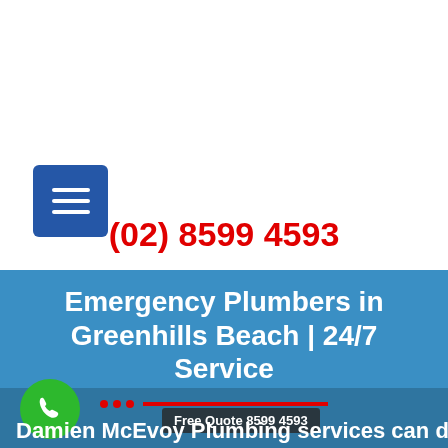[Figure (screenshot): Blue square hamburger menu button with three white horizontal lines]
(02) 8599 4593
Emergency Plumbers in Greenhills Beach | 24/7 Service
[Figure (other): Green phone call circle icon with tooltip showing 'Free Quote 8599 4593' and red dots and line decoration]
Damien McEvoy Plumbing services can do the job for